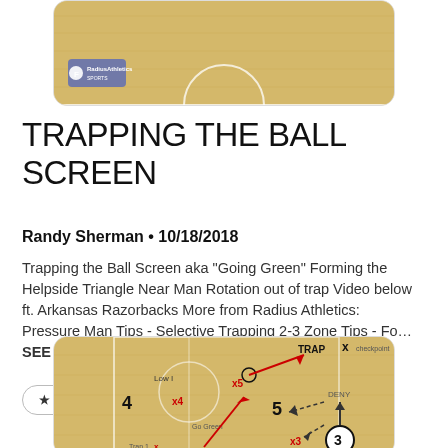[Figure (illustration): Basketball court diagram top portion with center circle and Radius Athletics logo]
TRAPPING THE BALL SCREEN
Randy Sherman • 10/18/2018
Trapping the Ball Screen aka "Going Green" Forming the Helpside Triangle Near Man Rotation out of trap Video below ft. Arkansas Razorbacks More from Radius Athletics: Pressure Man Tips - Selective Trapping 2-3 Zone Tips - Fo… SEE MORE
★ FAVORITE
⎋ SEND TO FASTDRAW
[Figure (illustration): Basketball play diagram showing trapping the ball screen with player positions labeled 4, 5, x4, x5, x3, 3, TRAP, DENY, Low I, Go Green, checkpoint markers, with red arrows showing movement]